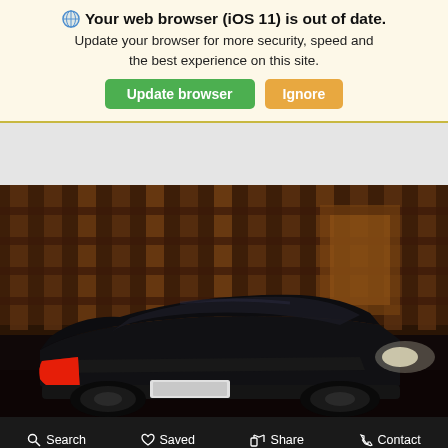🌐 Your web browser (iOS 11) is out of date. Update your browser for more security, speed and the best experience on this site. [Update browser] [Ignore]
[Figure (photo): Dark sedan car photographed from rear-left angle in a dimly lit urban setting with warm amber lighting. The car appears to be a luxury sedan, black in color, with red tail lights visible.]
Search   Saved   Share   Contact